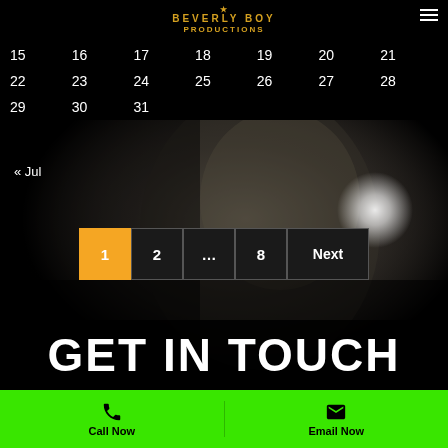Beverly Boy Productions
| 15 | 16 | 17 | 18 | 19 | 20 | 21 |
| 22 | 23 | 24 | 25 | 26 | 27 | 28 |
| 29 | 30 | 31 |  |  |  |  |
« Jul
[Figure (photo): Black and white photo of a person facing downward, with a bright light/orb in background]
1  2  …  8  Next
GET IN TOUCH
Call Now   Email Now